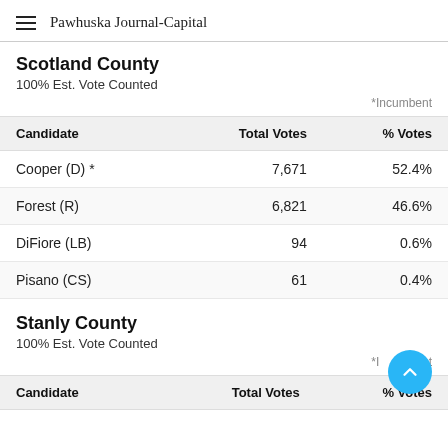Pawhuska Journal-Capital
Scotland County
100% Est. Vote Counted
*Incumbent
| Candidate | Total Votes | % Votes |
| --- | --- | --- |
| Cooper (D) * | 7,671 | 52.4% |
| Forest (R) | 6,821 | 46.6% |
| DiFiore (LB) | 94 | 0.6% |
| Pisano (CS) | 61 | 0.4% |
Stanly County
100% Est. Vote Counted
*Incumbent
| Candidate | Total Votes | % Votes |
| --- | --- | --- |